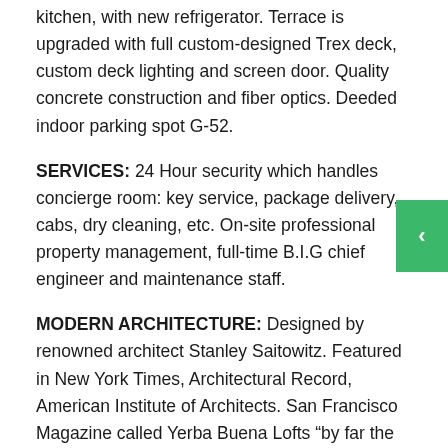kitchen, with new refrigerator. Terrace is upgraded with full custom-designed Trex deck, custom deck lighting and screen door. Quality concrete construction and fiber optics. Deeded indoor parking spot G-52.
SERVICES: 24 Hour security which handles concierge room: key service, package delivery, cabs, dry cleaning, etc. On-site professional property management, full-time B.I.G chief engineer and maintenance staff.
MODERN ARCHITECTURE: Designed by renowned architect Stanley Saitowitz. Featured in New York Times, Architectural Record, American Institute of Architects. San Francisco Magazine called Yerba Buena Lofts “by far the best building South of Market”. San Francisco’s “Best of the Best” called it “Best Loft”.